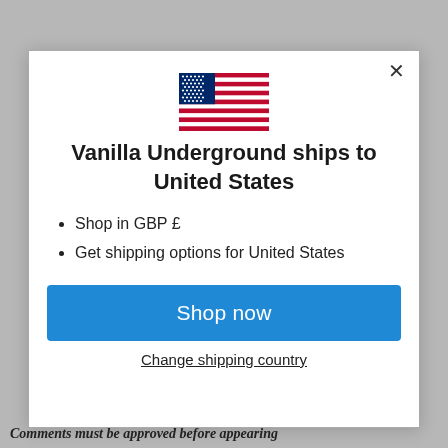[Figure (screenshot): US flag emoji displayed at top center of modal dialog]
Vanilla Underground ships to United States
Shop in GBP £
Get shipping options for United States
Shop now
Change shipping country
Comments must be approved before appearing